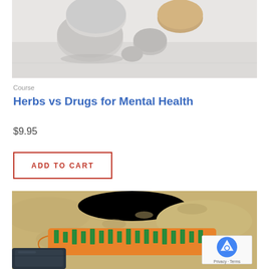[Figure (photo): Photo of gray/white pills and tablets on a white surface]
Course
Herbs vs Drugs for Mental Health
$9.95
ADD TO CART
[Figure (photo): Photo of an orange and green patterned face mask lying on sand, with a dark bag visible in the lower left, and a reCAPTCHA badge in the lower right corner]